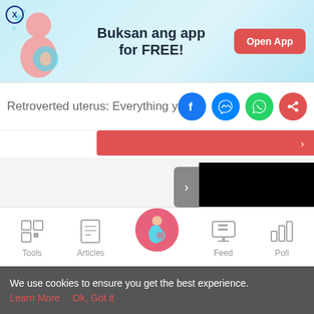[Figure (screenshot): App promotional banner with blue/teal background, pregnant woman illustration, text 'Buksan ang app for FREE!' and red 'Open App' button]
Retroverted uterus: Everything you ne
[Figure (screenshot): Social sharing icons: Facebook (blue circle), Messenger (blue circle), WhatsApp (green circle), Share (red circle)]
[Figure (screenshot): Black media/video block with sidebar toggle arrow]
[Figure (screenshot): Bottom navigation bar with Tools, Articles, center pregnant woman icon, Feed, Poll]
We use cookies to ensure you get the best experience.
Learn More   Ok, Got it